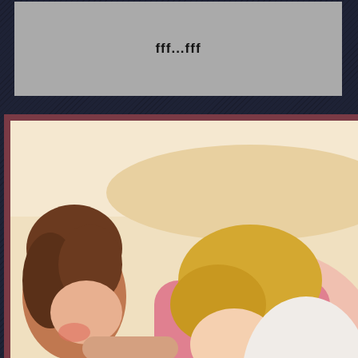fff...fff
[Figure (illustration): Manga/anime style color illustration showing two characters - one with brown hair on the left looking at a blonde character on the right who appears to be lying down or resting, with warm soft colors suggesting an indoor bedroom scene]
♪♪
Sayame
Only in Your Dreams
[Figure (illustration): Black and white manga illustration showing character(s) with detailed line art, appears to be a dramatic or emotional scene]